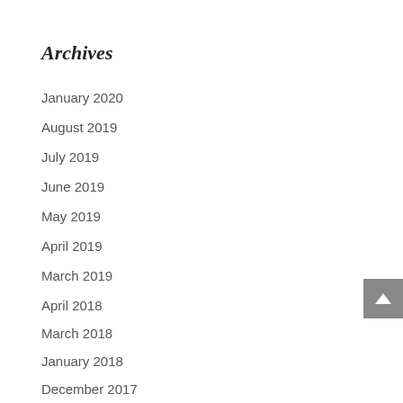Archives
January 2020
August 2019
July 2019
June 2019
May 2019
April 2019
March 2019
April 2018
March 2018
January 2018
December 2017
August 2017
March 2017